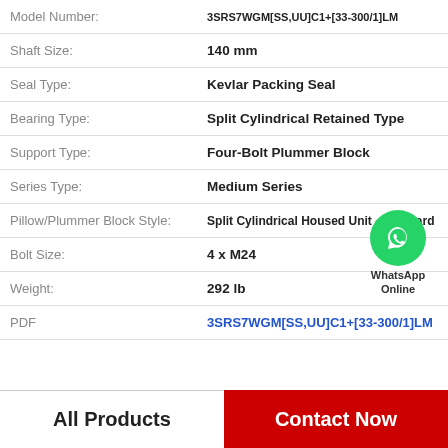| Property | Value |
| --- | --- |
| Model Number: | 3SRS7WGM[SS,UU]C1+[33-300/1]LM |
| Shaft Size: | 140 mm |
| Seal Type: | Kevlar Packing Seal |
| Bearing Type: | Split Cylindrical Retained Type |
| Support Type: | Four-Bolt Plummer Block |
| Series Type: | Medium Series |
| Pillow/Plummer Block Style: | Split Cylindrical Housed Unit - Standard |
| Bolt Size: | 4 x M24 |
| Weight: | 292 lb |
| PDF | 3SRS7WGM[SS,UU]C1+[33-300/1]LM |
[Figure (logo): WhatsApp Online contact badge with green phone icon circle]
All Products
Contact Now